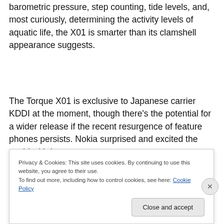barometric pressure, step counting, tide levels, and, most curiously, determining the activity levels of aquatic life, the X01 is smarter than its clamshell appearance suggests.
The Torque X01 is exclusive to Japanese carrier KDDI at the moment, though there's the potential for a wider release if the recent resurgence of feature phones persists. Nokia surprised and excited the world with its
Privacy & Cookies: This site uses cookies. By continuing to use this website, you agree to their use.
To find out more, including how to control cookies, see here: Cookie Policy
Close and accept